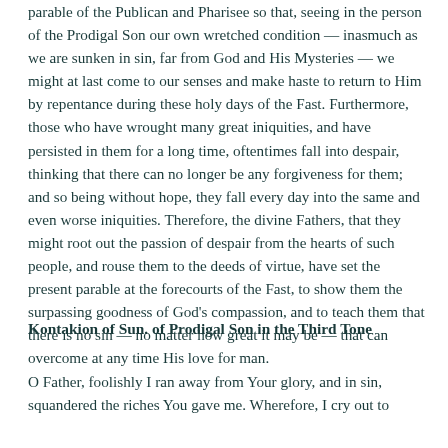parable of the Publican and Pharisee so that, seeing in the person of the Prodigal Son our own wretched condition — inasmuch as we are sunken in sin, far from God and His Mysteries — we might at last come to our senses and make haste to return to Him by repentance during these holy days of the Fast. Furthermore, those who have wrought many great iniquities, and have persisted in them for a long time, oftentimes fall into despair, thinking that there can no longer be any forgiveness for them; and so being without hope, they fall every day into the same and even worse iniquities. Therefore, the divine Fathers, that they might root out the passion of despair from the hearts of such people, and rouse them to the deeds of virtue, have set the present parable at the forecourts of the Fast, to show them the surpassing goodness of God's compassion, and to teach them that there is no sin — no matter how great it may be — that can overcome at any time His love for man.
Kontakion of Sun. of Prodigal Son in the Third Tone
O Father, foolishly I ran away from Your glory, and in sin, squandered the riches You gave me. Wherefore, I cry out to